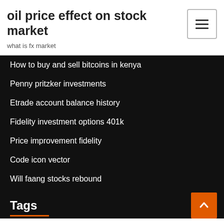oil price effect on stock market
what is fx market
How to buy and sell bitcoins in kenya
Penny pritzker investments
Etrade account balance history
Fidelity investment options 401k
Price improvement fidelity
Code icon vector
Will faang stocks rebound
Tags